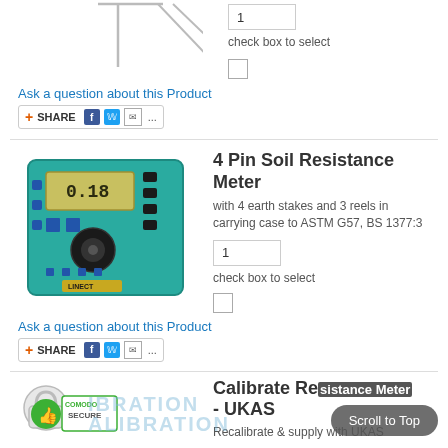[Figure (illustration): Partial top-cropped product image showing metallic stakes/rods]
1
check box to select
Ask a question about this Product
[Figure (other): Share bar with plus icon, SHARE text, Facebook, Twitter, email icons and dots]
[Figure (photo): 4 Pin Soil Resistance Meter device in teal/green case with LCD display]
4 Pin Soil Resistance Meter
with 4 earth stakes and 3 reels in carrying case to ASTM G57, BS 1377:3
1
check box to select
Ask a question about this Product
[Figure (other): Share bar with plus icon, SHARE text, Facebook, Twitter, email icons and dots]
[Figure (logo): Comodo Secure badge with green thumbs up icon]
Calibrate Resistance Meter - UKAS
Recalibrate & supply with UKAS
[Figure (other): Scroll to Top button overlay]